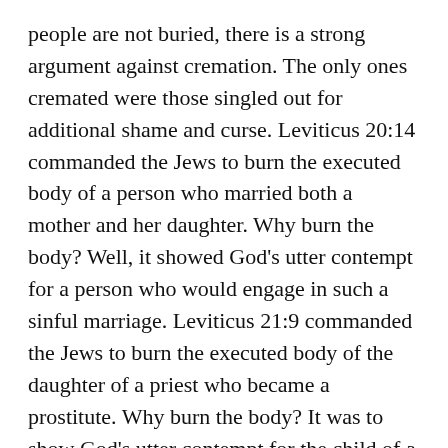people are not buried, there is a strong argument against cremation. The only ones cremated were those singled out for additional shame and curse. Leviticus 20:14 commanded the Jews to burn the executed body of a person who married both a mother and her daughter. Why burn the body? Well, it showed God's utter contempt for a person who would engage in such a sinful marriage. Leviticus 21:9 commanded the Jews to burn the executed body of the daughter of a priest who became a prostitute. Why burn the body? It was to show God's utter contempt for the child of a preacher who would degrade herself to become a prostitute. While an ordinary prostitute might be executed for adultery, this one was executed and then burned.